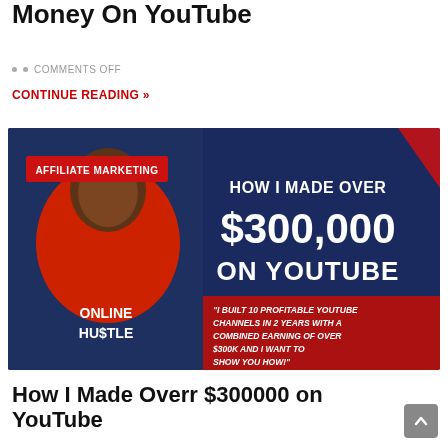Money On YouTube
COMMENTS OFF
CONTINUE READING »
[Figure (illustration): Promotional banner image with dark blue background. Shows a man in a red hoodie labeled 'ONLINE HUSTLE'. Red tag reads 'AFFILIATE MARKETING'. Large white bold text: 'HOW I MADE OVER $300,000 ON YOUTUBE'. Red section with italic text: '"I BUILT 10 PROFITABLE YOUTUBE CHANNELS IN 2 YEARS WITH A COMBINED EARNING OF OVER $300K AND I WANT TO SHOW YOU HOW!"']
How I Made Overr $300000 on YouTube